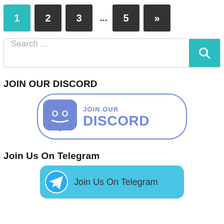[Figure (other): Pagination bar with buttons: 1 (active/teal), 2, 3, ..., 5, >>]
[Figure (other): Search input bar with placeholder 'Search ...' and a teal search icon button on the right]
JOIN OUR DISCORD
[Figure (other): Discord banner button with Discord logo icon and text 'JOIN OUR DISCORD' in purple/indigo color with rounded border]
Join Us On Telegram
[Figure (other): Telegram banner button with Telegram logo icon and text 'Join Us On Telegram' on teal/cyan background]